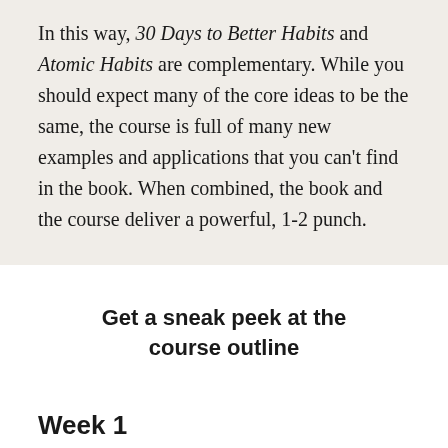In this way, 30 Days to Better Habits and Atomic Habits are complementary. While you should expect many of the core ideas to be the same, the course is full of many new examples and applications that you can't find in the book. When combined, the book and the course deliver a powerful, 1-2 punch.
Get a sneak peek at the course outline
Week 1